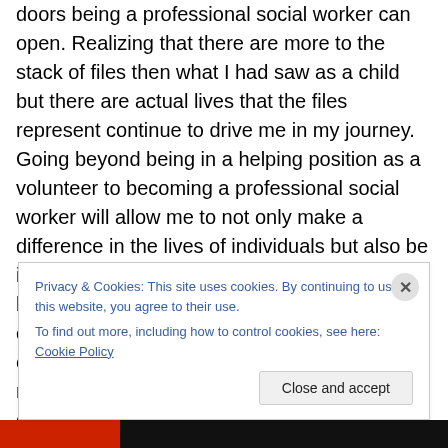doors being a professional social worker can open. Realizing that there are more to the stack of files then what I had saw as a child but there are actual lives that the files represent continue to drive me in my journey. Going beyond being in a helping position as a volunteer to becoming a professional social worker will allow me to not only make a difference in the lives of individuals but also be involved in social justice issues and to have a broader networking base. Along with this comes the support of the NASW and the extended community that we have as members. I also realized that having the guidance of the
Privacy & Cookies: This site uses cookies. By continuing to use this website, you agree to their use. To find out more, including how to control cookies, see here: Cookie Policy